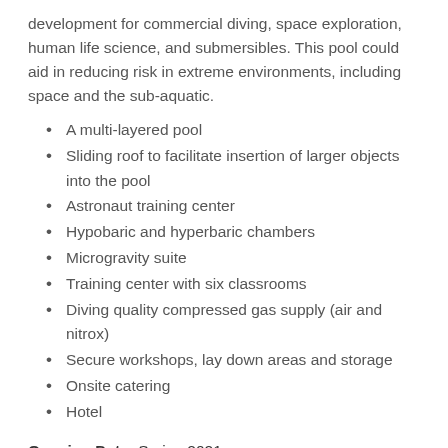development for commercial diving, space exploration, human life science, and submersibles. This pool could aid in reducing risk in extreme environments, including space and the sub-aquatic.
A multi-layered pool
Sliding roof to facilitate insertion of larger objects into the pool
Astronaut training center
Hypobaric and hyperbaric chambers
Microgravity suite
Training center with six classrooms
Diving quality compressed gas supply (air and nitrox)
Secure workshops, lay down areas and storage
Onsite catering
Hotel
Opening Date: Spring 2021
Architect: Robin Partington